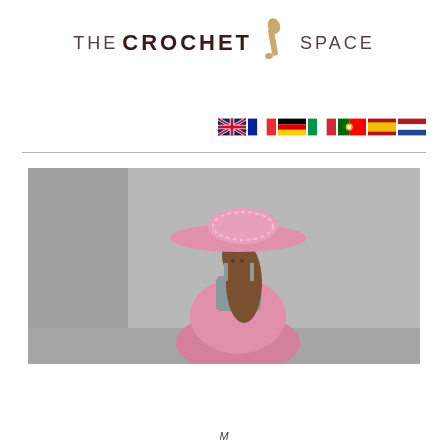[Figure (logo): The Crochet Space logo with crochet hook icon between 'CROCHET' and 'SPACE' text]
[Figure (infographic): Row of 7 national flag icons: UK, France, Germany, Italy, Portugal, Spain, Netherlands]
[Figure (photo): Young girl wearing a large pink crocheted sun hat and pink crocheted dress with grey bodice, standing against a light grey wall]
M